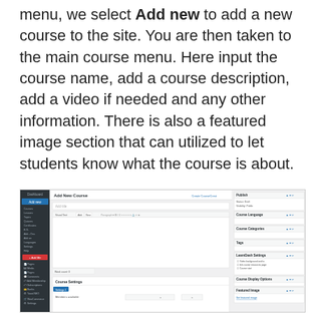menu, we select Add new to add a new course to the site. You are then taken to the main course menu. Here input the course name, add a course description, add a video if needed and any other information. There is also a featured image section that can utilized to let students know what the course is about.
[Figure (screenshot): WordPress admin panel showing the Add New Course page with a title input field, text editor with toolbar, course settings section at the bottom, and a right sidebar with Publish, Course Language, Course Categories, Tags, LearnDash Settings, Course Display Options, and Featured Image panels.]